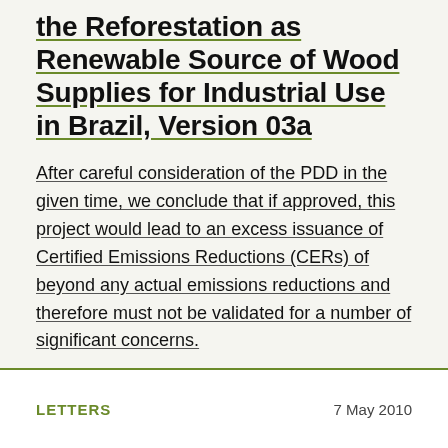the Reforestation as Renewable Source of Wood Supplies for Industrial Use in Brazil, Version 03a
After careful consideration of the PDD in the given time, we conclude that if approved, this project would lead to an excess issuance of Certified Emissions Reductions (CERs) of beyond any actual emissions reductions and therefore must not be validated for a number of significant concerns.
LETTERS   7 May 2010